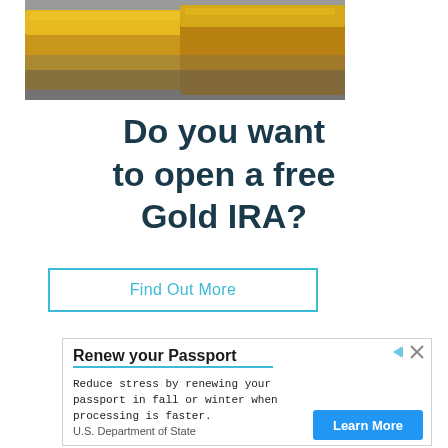[Figure (photo): Close-up photo of gold bars/ingots with a dark gray background]
Do you want to open a free Gold IRA?
Find Out More
[Figure (infographic): Advertisement banner for renewing your passport from the U.S. Department of State. Title: Renew your Passport. Body: Reduce stress by renewing your passport in fall or winter when processing is faster. Button: Learn More.]